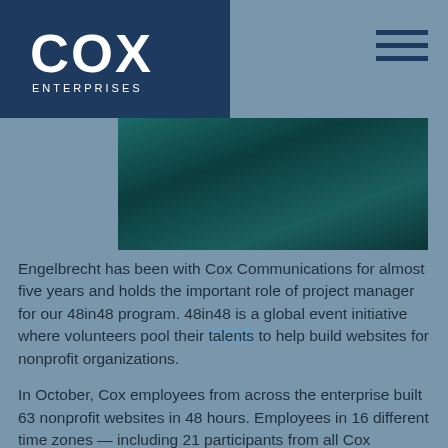COX ENTERPRISES
[Figure (photo): Partial photo of a person wearing a teal/dark teal top, cropped at top of page]
Engelbrecht has been with Cox Communications for almost five years and holds the important role of project manager for our 48in48 program. 48in48 is a global event initiative where volunteers pool their talents to help build websites for nonprofit organizations.
In October, Cox employees from across the enterprise built 63 nonprofit websites in 48 hours. Employees in 16 different time zones — including 21 participants from all Cox divisions — volunteered a total of 16,800 hours.
When it comes to Cox's efforts in STEAM, Engelbrecht is proud to work for a